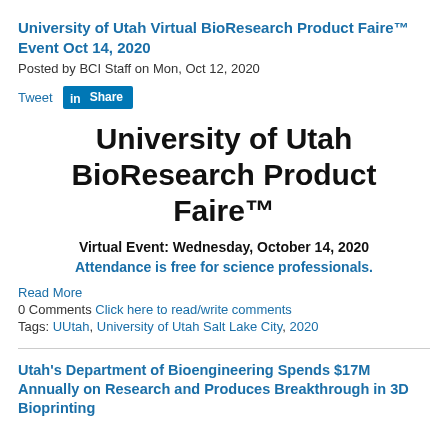University of Utah Virtual BioResearch Product Faire™ Event Oct 14, 2020
Posted by BCI Staff on Mon, Oct 12, 2020
[Figure (other): Social sharing buttons: Tweet and LinkedIn Share]
[Figure (infographic): University of Utah BioResearch Product Faire™ — Virtual Event: Wednesday, October 14, 2020. Attendance is free for science professionals.]
Read More
0 Comments Click here to read/write comments
Tags: UUtah, University of Utah Salt Lake City, 2020
Utah's Department of Bioengineering Spends $17M Annually on Research and Produces Breakthrough in 3D Bioprinting